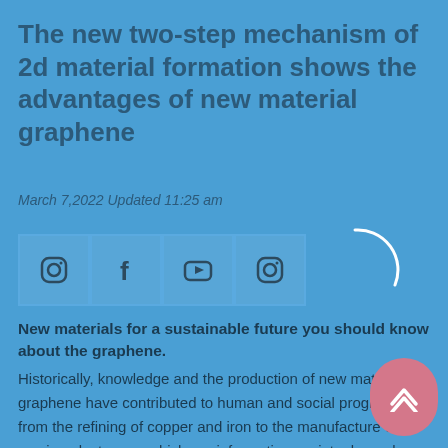The new two-step mechanism of 2d material formation shows the advantages of new material graphene
March 7,2022 Updated 11:25 am
[Figure (other): Social media icon buttons: Instagram, Facebook, YouTube, Instagram icons in square bordered boxes, followed by a white loading arc spinner]
New materials for a sustainable future you should know about the graphene.
Historically, knowledge and the production of new materials graphene have contributed to human and social progress, from the refining of copper and iron to the manufacture of semiconductors on which our information society depends today. However, many materials and their